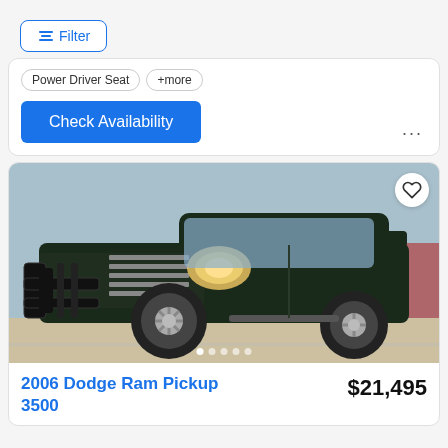[Figure (screenshot): Filter button with adjustable sliders icon in blue border]
Power Driver Seat  +more
Check Availability
[Figure (photo): Front view of a dark green 2006 Dodge Ram Pickup 3500 truck parked on a lot, with a bull bar/grille guard attached]
2006 Dodge Ram Pickup 3500
$21,495